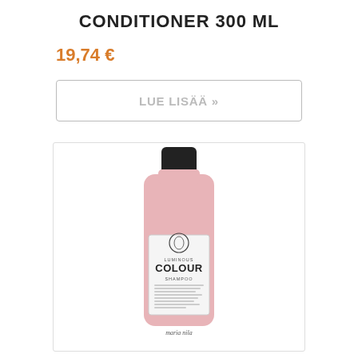CONDITIONER 300 ML
19,74 €
LUE LISÄÄ »
[Figure (photo): Pink shampoo/conditioner bottle with black cap, labeled 'LUMINOUS COLOUR SHAMPOO' by Maria Nila, shown inside a light-bordered rectangular box]